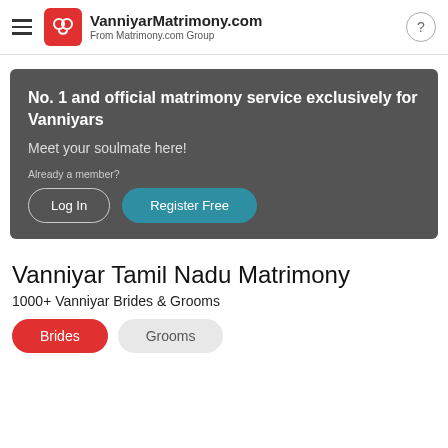VanniyarMatrimony.com — From Matrimony.com Group
[Figure (infographic): Dark grey banner with white text promoting No. 1 and official matrimony service exclusively for Vanniyars. Includes 'Meet your soulmate here!' tagline, 'Already a member?' label, and two buttons: Log In and Register Free.]
Vanniyar Tamil Nadu Matrimony
1000+ Vanniyar Brides & Grooms
Brides
Grooms